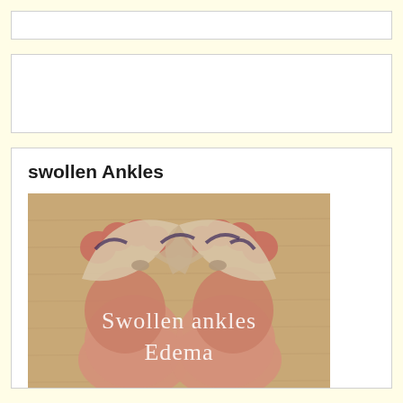[Figure (other): Top advertisement banner strip (yellow background with white rectangle)]
[Figure (other): Second advertisement banner (white rectangle on yellow background)]
swollen Ankles
[Figure (photo): Photo of swollen ankles with flip-flop sandals, viewed from above, with text overlay reading 'Swollen ankles Edema']